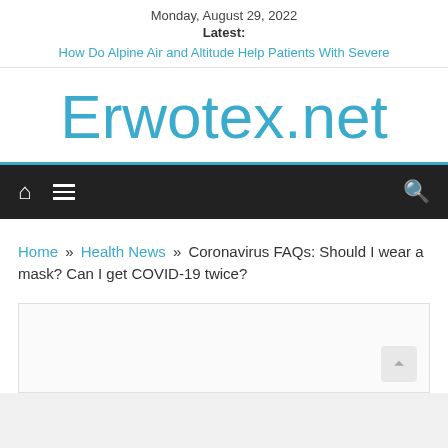Monday, August 29, 2022
Latest:
How Do Alpine Air and Altitude Help Patients With Severe
Erwotex.net
Navigation bar with home, menu, and search icons
Home » Health News » Coronavirus FAQs: Should I wear a mask? Can I get COVID-19 twice?